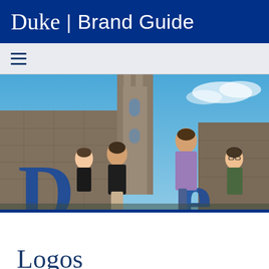Duke | Brand Guide
[Figure (photo): Four students posed outdoors in front of Duke Chapel tower and stone Gothic architecture, with large blue Duke letters visible. Blue sky background.]
Logos